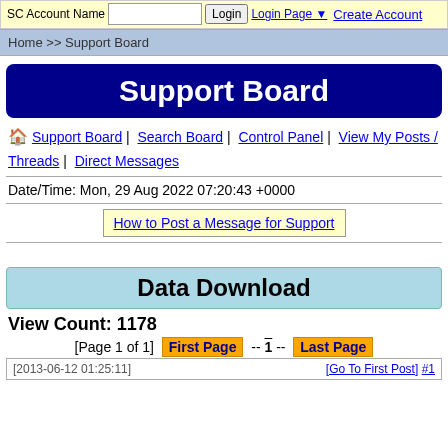SC Account Name | [input] | Login | Login Page | Create Account
Home >> Support Board
Support Board
🏠 Support Board | Search Board | Control Panel | View My Posts / Threads | Direct Messages
Date/Time: Mon, 29 Aug 2022 07:20:43 +0000
How to Post a Message for Support
Data Download
View Count: 1178
[Page 1 of 1] First Page -- 1 -- Last Page
[2013-06-12 01:25:11]  [Go To First Post] #1